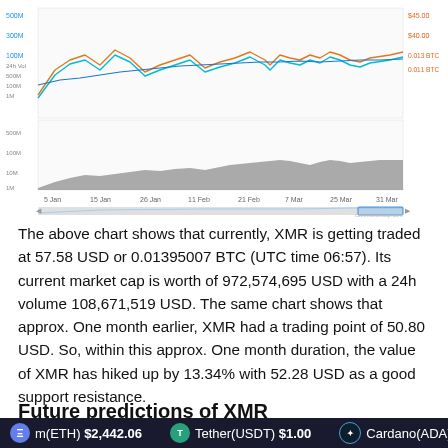[Figure (continuous-plot): XMR cryptocurrency chart showing Market Cap, Price (USD), Price (BTC), and 24h Vol from January to March. The chart has multiple colored lines: blue (Market Cap), teal/green (Price USD), orange (Price BTC), and a gray area chart for 24h volume at the bottom. Time range shown: 5 Jan to 31 Mar. Key price labels visible: $37,000, $30.00, $40.00, $45.00, and BTC values. A mini navigation slider is shown at the bottom of the chart. Legend shows: Market Cap (blue line), Price (USD) (teal line), Price (BTC) (orange line), 24h Vol (gray dot).]
The above chart shows that currently, XMR is getting traded at 57.58 USD or 0.01395007 BTC (UTC time 06:57). Its current market cap is worth of 972,574,695 USD with a 24h volume 108,671,519 USD. The same chart shows that approx. One month earlier, XMR had a trading point of 50.80 USD. So, within this approx. One month duration, the value of XMR has hiked up by 13.34% with 52.28 USD as a good support resistance.
Future predictions of XMR
m(ETH) $2,442.06   Tether(USDT) $1.00   Cardano(ADA) $1.4...